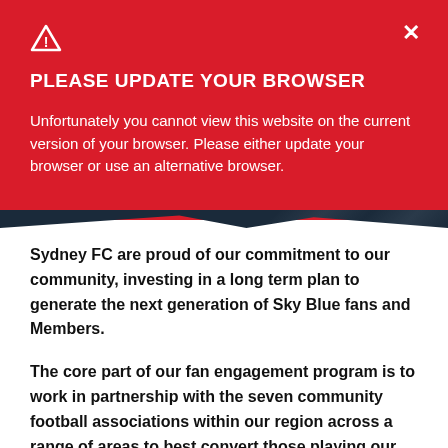[Figure (screenshot): Red alert banner with warning triangle icon and X close button]
PLEASE UPDATE YOUR BROWSER
Unfortunately you cannot view this website on the current version of your browser. Please either update your browser or use an alternative browser.
Sydney FC are proud of our commitment to our community, investing in a long term plan to generate the next generation of Sky Blue fans and Members.
The core part of our fan engagement program is to work in partnership with the seven community football associations within our region across a range of areas to best convert those playing our